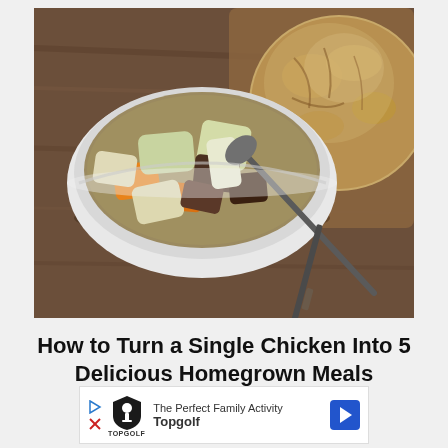[Figure (photo): A white bowl of vegetable and meat stew with large chunks of carrots, cabbage, potatoes, and dark meat with a spoon, next to a rustic round loaf of bread on a wooden cutting board.]
How to Turn a Single Chicken Into 5 Delicious Homegrown Meals
[Figure (other): Advertisement banner for Topgolf reading 'The Perfect Family Activity Topgolf' with Topgolf logo and a blue navigation arrow icon.]